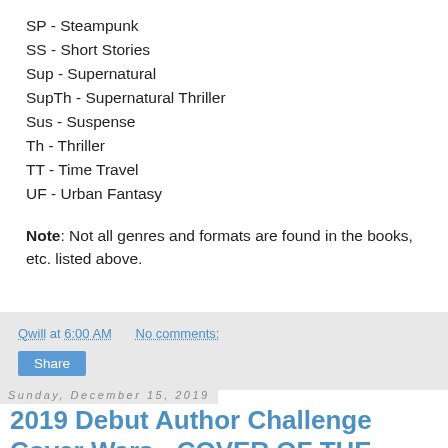SP - Steampunk
SS - Short Stories
Sup - Supernatural
SupTh - Supernatural Thriller
Sus - Suspense
Th - Thriller
TT - Time Travel
UF - Urban Fantasy
Note: Not all genres and formats are found in the books, etc. listed above.
Qwill at 6:00 AM   No comments:   Share
Sunday, December 15, 2019
2019 Debut Author Challenge Cover Wars - COVER OF THE YEAR!